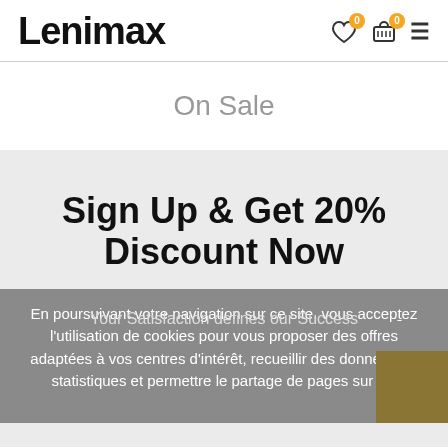Lenimax
On Sale
Sign Up & Get 20% Discount Now
Your Satisfaction defines our Success
En poursuivant votre navigation sur ce site, vous acceptez l'utilisation de cookies pour vous proposer des offres adaptées à vos centres d'intérêt, recueillir des données de statistiques et permettre le partage de pages sur les